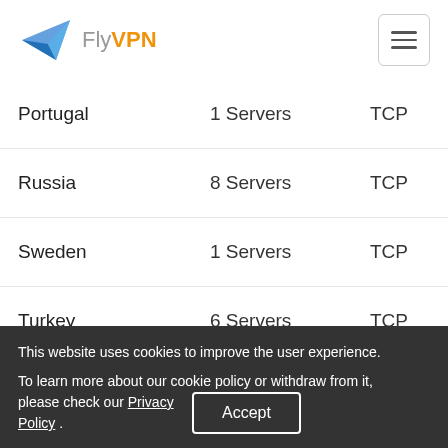FlyVPN
Portugal | 1 Servers | TCP
Russia | 8 Servers | TCP
Sweden | 1 Servers | TCP
Turkey | 6 Servers | TCP
Ukraine | 1 Servers | TCP
Africa, Middle East and India
| Countries | VPN servers |
| --- | --- |
| Bahrain | 1 Servers | TCP |
| India | 6 Servers | TCP |
| South Africa | 1 Servers | TCP |
This website uses cookies to improve the user experience. To learn more about our cookie policy or withdraw from it, please check our Privacy Policy .